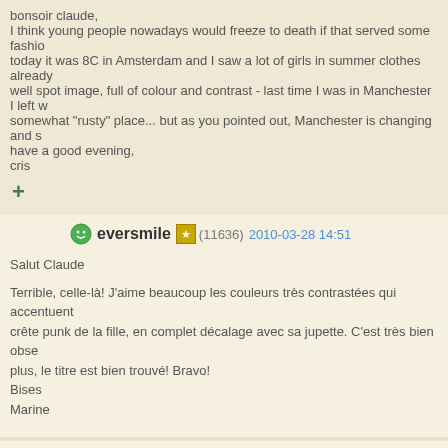bonsoir claude,
I think young people nowadays would freeze to death if that served some fashion...
today it was 8C in Amsterdam and I saw a lot of girls in summer clothes already...
well spot image, full of colour and contrast - last time I was in Manchester I left w...
somewhat "rusty" place... but as you pointed out, Manchester is changing and s...
have a good evening,
cris
+
eversmile (11636) 2010-03-28 14:51
Salut Claude

Terrible, celle-là! J'aime beaucoup les couleurs très contrastées qui accentuent...
crête punk de la fille, en complet décalage avec sa jupette. C'est très bien obse...
plus, le titre est bien trouvé! Bravo!
Bises
Marine
KristinsCamera (2384) 2013-12-13 20:00
ah, one of the colorful and interesting people from the street -- my kind of photo...
favor of, anyone who makes the effort and has the imagination to put themselve...
different way -- they are rarely boring and often some of the nicest people you'll...
kristin